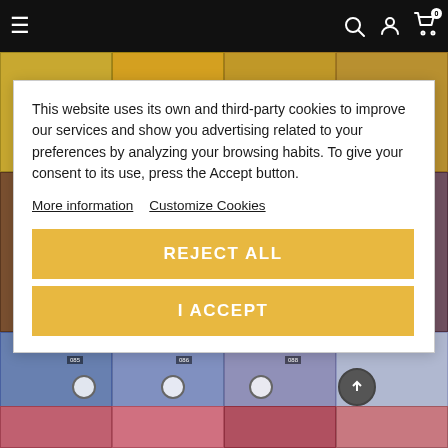Navigation bar with hamburger menu, search, user, and cart icons
[Figure (screenshot): Background product grid showing textile/fabric product images in yellow, gold, brown, purple, and blue tones]
This website uses its own and third-party cookies to improve our services and show you advertising related to your preferences by analyzing your browsing habits. To give your consent to its use, press the Accept button.
More information   Customize Cookies
REJECT ALL
I ACCEPT